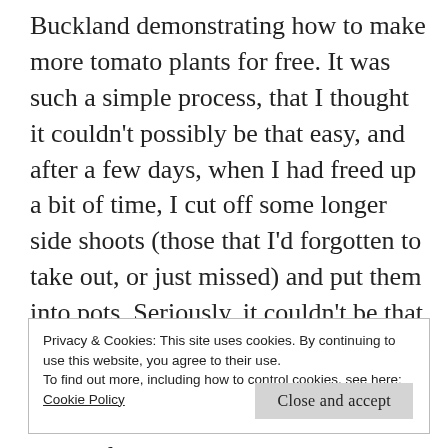Buckland demonstrating how to make more tomato plants for free. It was such a simple process, that I thought it couldn't possibly be that easy, and after a few days, when I had freed up a bit of time, I cut off some longer side shoots (those that I'd forgotten to take out, or just missed) and put them into pots. Seriously, it couldn't be that easy to create a tomato plant? About 10 or so days later I removed them from their shady spot and took a peek to see if any had rooted. They had – all were growing well, and suddenly I had too many. However, I potted them all on, gave a few away and kept
Privacy & Cookies: This site uses cookies. By continuing to use this website, you agree to their use.
To find out more, including how to control cookies, see here:
Cookie Policy
Close and accept